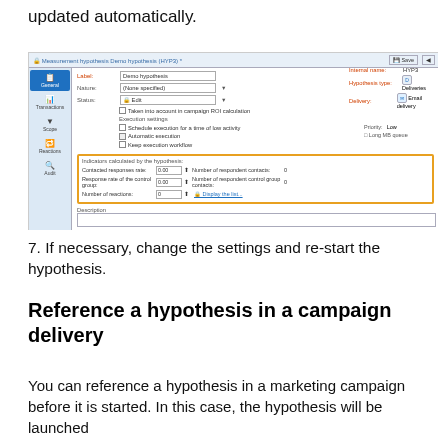updated automatically.
[Figure (screenshot): Screenshot of the Measurement hypothesis Demo hypothesis (HYP3) dialog in Adobe Campaign. Shows General tab with fields: Label (Demo hypothesis), Nature (None specified), Status (Edit), a checkbox for ROI calculation, Execution settings section with checkboxes for scheduling, automatic execution, keep workflow, plus Priority (Low) and Long MB queue. An orange-bordered section shows Indicators calculated by the hypothesis: Contacted responses rate 0.00, Response rate of the control group 0.00, Number of reactions 0. Right side shows Internal name HYP3, Hypothesis type Deliveries, Delivery Email delivery. Bottom shows a Description field.]
7. If necessary, change the settings and re-start the hypothesis.
Reference a hypothesis in a campaign delivery
You can reference a hypothesis in a marketing campaign before it is started. In this case, the hypothesis will be launched